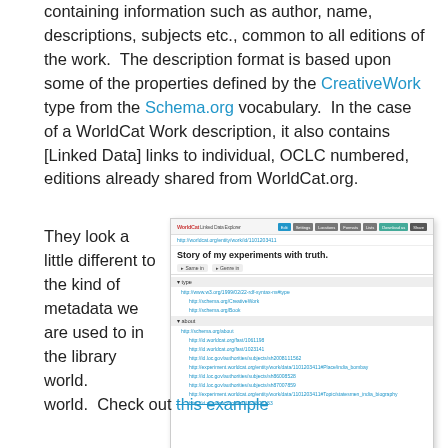containing information such as author, name, descriptions, subjects etc., common to all editions of the work.  The description format is based upon some of the properties defined by the CreativeWork type from the Schema.org vocabulary.  In the case of a WorldCat Work description, it also contains [Linked Data] links to individual, OCLC numbered, editions already shared from WorldCat.org.
They look a little different to the kind of metadata we are used to in the library world.  Check out this example
[Figure (screenshot): Screenshot of WorldCat Linked Data Explorer showing 'Story of my experiments with truth.' with type and about sections listing various linked data URIs]